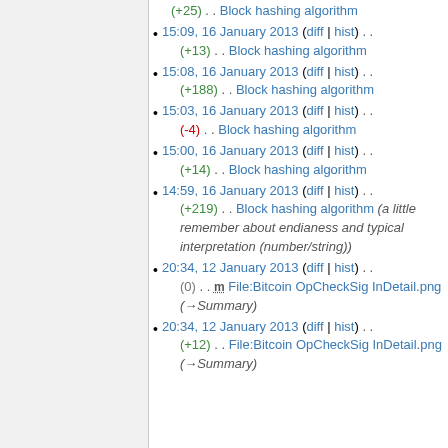(+25) . . Block hashing algorithm
15:09, 16 January 2013 (diff | hist) . . (+13) . . Block hashing algorithm
15:08, 16 January 2013 (diff | hist) . . (+188) . . Block hashing algorithm
15:03, 16 January 2013 (diff | hist) . . (-4) . . Block hashing algorithm
15:00, 16 January 2013 (diff | hist) . . (+14) . . Block hashing algorithm
14:59, 16 January 2013 (diff | hist) . . (+219) . . Block hashing algorithm (a little remember about endianess and typical interpretation (number/string))
20:34, 12 January 2013 (diff | hist) . . (0) . . m File:Bitcoin OpCheckSig InDetail.png (→Summary)
20:34, 12 January 2013 (diff | hist) . . (+12) . . File:Bitcoin OpCheckSig InDetail.png (→Summary)